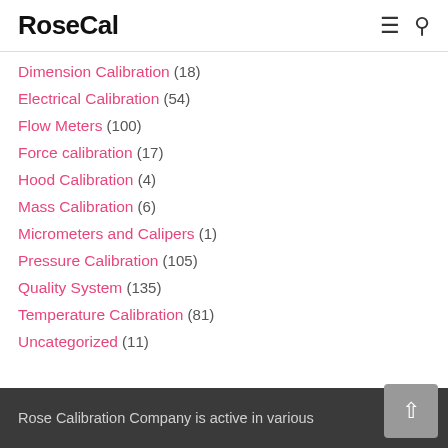RoseCal
Dimension Calibration (18)
Electrical Calibration (54)
Flow Meters (100)
Force calibration (17)
Hood Calibration (4)
Mass Calibration (6)
Micrometers and Calipers (1)
Pressure Calibration (105)
Quality System (135)
Temperature Calibration (81)
Uncategorized (11)
Rose Calibration Company is active in various